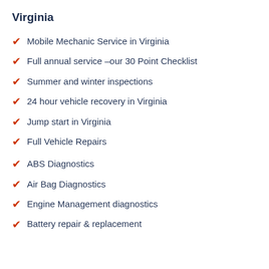Virginia
Mobile Mechanic Service in Virginia
Full annual service –our 30 Point Checklist
Summer and winter inspections
24 hour vehicle recovery in Virginia
Jump start in Virginia
Full Vehicle Repairs
ABS Diagnostics
Air Bag Diagnostics
Engine Management diagnostics
Battery repair & replacement